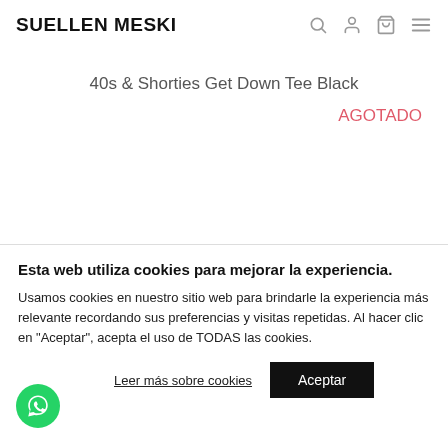SUELLEN MESKI
40s & Shorties Get Down Tee Black
AGOTADO
Esta web utiliza cookies para mejorar la experiencia.
Usamos cookies en nuestro sitio web para brindarle la experiencia más relevante recordando sus preferencias y visitas repetidas. Al hacer clic en "Aceptar", acepta el uso de TODAS las cookies.
Leer más sobre cookies
Aceptar